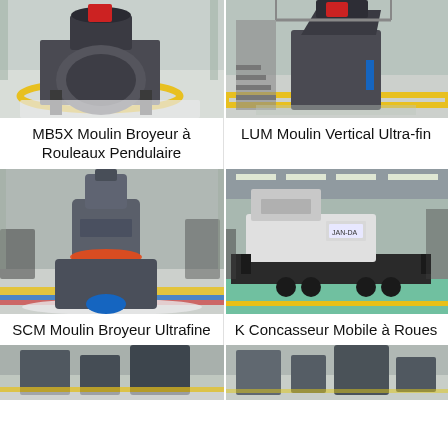[Figure (photo): MB5X Moulin Broyeur à Rouleaux Pendulaire industrial grinding mill machine in factory setting with yellow floor marking]
[Figure (photo): LUM Moulin Vertical Ultra-fin vertical roller mill on elevated platform in industrial facility]
MB5X Moulin Broyeur à Rouleaux Pendulaire
LUM Moulin Vertical Ultra-fin
[Figure (photo): SCM Moulin Broyeur Ultrafine superfine grinding mill machine in factory floor]
[Figure (photo): K Concasseur Mobile à Roues mobile wheel-mounted crusher unit on trailer in large warehouse]
SCM Moulin Broyeur Ultrafine
K Concasseur Mobile à Roues
[Figure (photo): Bottom left industrial machinery in factory setting]
[Figure (photo): Bottom right industrial machinery equipment]